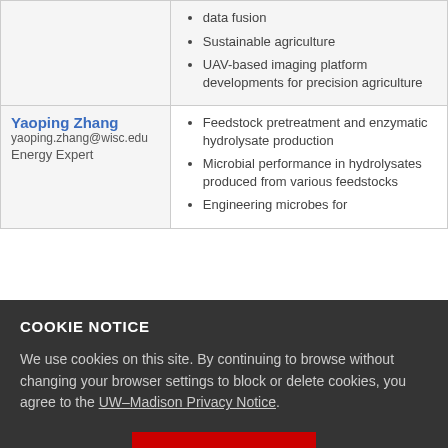| Name / Contact / Role | Research Areas |
| --- | --- |
| (continued) | data fusion
Sustainable agriculture
UAV-based imaging platform developments for precision agriculture |
| Yaoping Zhang
yaoping.zhang@wisc.edu
Energy Expert | Feedstock pretreatment and enzymatic hydrolysate production
Microbial performance in hydrolysates produced from various feedstocks
Engineering microbes for biofuel production
Multiomics fermentation |
COOKIE NOTICE
We use cookies on this site. By continuing to browse without changing your browser settings to block or delete cookies, you agree to the UW–Madison Privacy Notice.